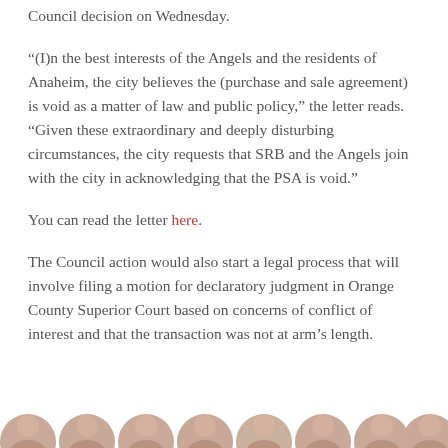Council decision on Wednesday.
“(I)n the best interests of the Angels and the residents of Anaheim, the city believes the (purchase and sale agreement) is void as a matter of law and public policy,” the letter reads. “Given these extraordinary and deeply disturbing circumstances, the city requests that SRB and the Angels join with the city in acknowledging that the PSA is void.”
You can read the letter here.
The Council action would also start a legal process that will involve filing a motion for declaratory judgment in Orange County Superior Court based on concerns of conflict of interest and that the transaction was not at arm’s length.
[Figure (photo): Row of circular cropped portrait photos of people, partially visible at the bottom of the page]